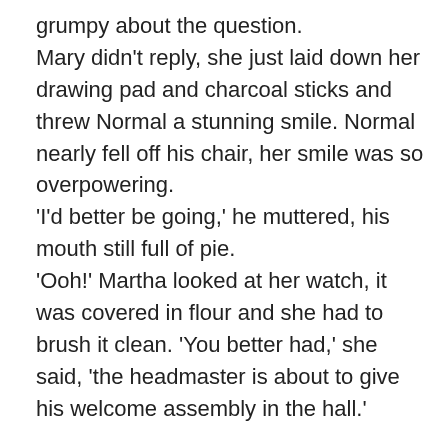grumpy about the question. Mary didn't reply, she just laid down her drawing pad and charcoal sticks and threw Normal a stunning smile. Normal nearly fell off his chair, her smile was so overpowering. 'I'd better be going,' he muttered, his mouth still full of pie. 'Ooh!' Martha looked at her watch, it was covered in flour and she had to brush it clean. 'You better had,' she said, 'the headmaster is about to give his welcome assembly in the hall.' Mary threw Normal another smile as she held the door open for him. Normal shot past her and ran back through the fading light towards the main building. Zenobius was holding out his huge grey hand, pointing back towards the school. Normal nodded and fled. He made it just in time and slipped into the ranks